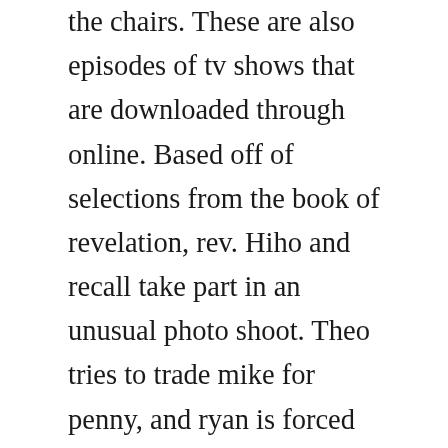the chairs. These are also episodes of tv shows that are downloaded through online. Based off of selections from the book of revelation, rev. Hiho and recall take part in an unusual photo shoot. Theo tries to trade mike for penny, and ryan is forced to turn to max for assistance. High school students in bangkok wrestle with issues such as sex, teen pregnancy, drugs, school violence, family turmoil and more in this thai drama. Watch londons burning season, episode 3 series episode 3. In the season finale, flynn, vega and lucas are determined to prove that neville montgomery